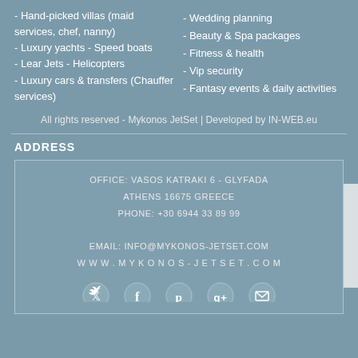- Hand-picked villas (maid services, chef, nanny)
- Luxury yachts - Speed boats
- Lear Jets - Helicopters
- Luxury cars & transfers (Chauffer services)
- Wedding planning
- Beauty & Spa packages
- Fitness & health
- Vip security
- Fantasy events & daily activities
All rights reserved - Mykonos JetSet | Developed by IN-WEB.eu
ADDRESS
OFFICE: VASOS KATRAKI 6 - GLYFADA
ATHENS 16675 GREECE
PHONE: +30 6944 33 89 99
EMAIL: INFO@MYKONOS-JETSET.COM
WWW.MYKONOS-JETSET.COM